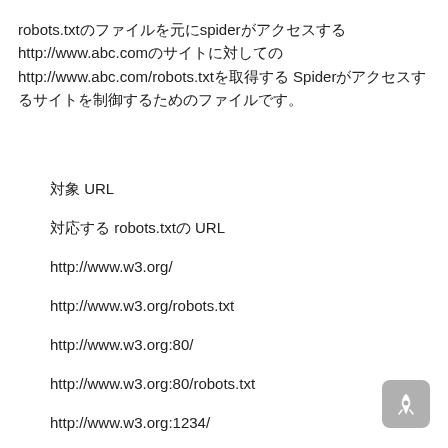robots.txt のファイルを元にspiderがアクセスする http://www.abc.com のサイトに対してのhttp://www.abc.com/robots.txt を取得する Spiderがアクセスするサイトを制御するためのファイルです。
対象 URL
対応する robots.txtの URL
http://www.w3.org/
http://www.w3.org/robots.txt
http://www.w3.org:80/
http://www.w3.org:80/robots.txt
http://www.w3.org:1234/